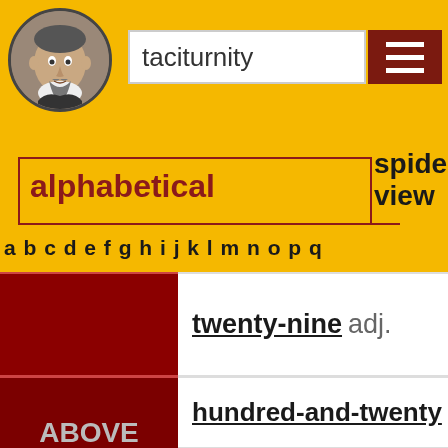[Figure (illustration): Circular portrait of Shakespeare in grayscale]
taciturnity
[Figure (screenshot): Navigation menu icon (hamburger) on dark red background]
alphabetical
spider view
by frequency by
a b c d e f g h i j k l m n o p q
|  | Word |
| --- | --- |
|  | twenty-nine adj. |
| ABOVE THIRTY | hundred-and-twenty |
| ABOVE THIRTY | one hundred twenty |